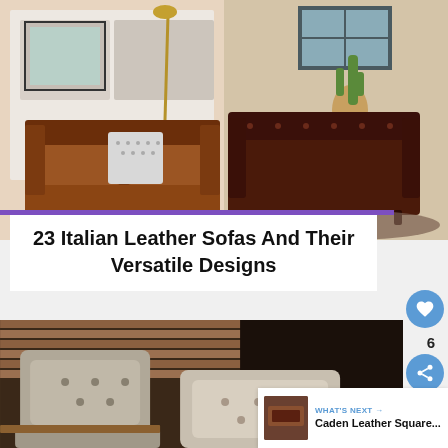[Figure (photo): Two leather sofas side by side: left is a medium brown leather sofa with a white patterned pillow in a bright room with framed art and a gold lamp; right is a dark burgundy tufted Chesterfield leather sofa in a room with a cactus plant and colorful rug.]
23 Italian Leather Sofas And Their Versatile Designs
[Figure (photo): Close-up of tufted light grey/beige leather chair seats and backs, with wooden slat wall and table in background, dimly lit restaurant or lounge setting.]
WHAT'S NEXT → Caden Leather Square...
6